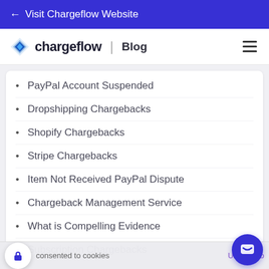← Visit Chargeflow Website
[Figure (logo): Chargeflow logo with diamond shape and text 'chargeflow | Blog']
PayPal Account Suspended
Dropshipping Chargebacks
Shopify Chargebacks
Stripe Chargebacks
Item Not Received PayPal Dispute
Chargeback Management Service
What is Compelling Evidence
Subscription Chargebacks
consented to cookies   Undo   Clo